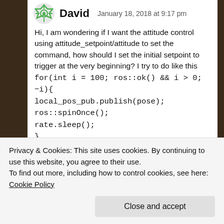David  January 18, 2018 at 9:17 pm
Hi, I am wondering if I want the attitude control using attitude_setpoint/attitude to set the command, how should I set the initial setpoint to trigger at the very beginning? I try to do like this for(int i = 100; ros::ok() && i > 0; −i){ local_pos_pub.publish(pose); ros::spinOnce(); rate.sleep(); } as shown in website: https://dev.px4.io/en/ros/mavros_offboard.html and it work only if I keep sending the pose rather than the attitued. Otherwise the quad cannot be
Privacy & Cookies: This site uses cookies. By continuing to use this website, you agree to their use.
To find out more, including how to control cookies, see here: Cookie Policy
Close and accept